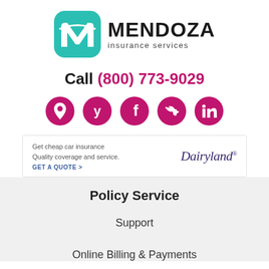[Figure (logo): Mendoza Insurance Services logo with teal rounded square icon showing white M letter and arc shape, next to bold MENDOZA text and 'insurance services' subtitle]
Call (800) 773-9029
[Figure (infographic): Five magenta/pink circular social media icons: location pin, Yelp, Facebook, Twitter, LinkedIn]
[Figure (infographic): Advertisement banner: 'Get cheap car insurance Quality coverage and service. GET A QUOTE >' with Dairyland logo]
Policy Service
Support
Online Billing & Payments